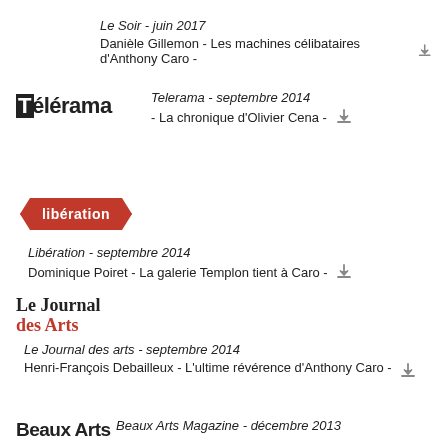Le Soir - juin 2017
Danièle Gillemon - Les machines célibataires d'Anthony Caro -
[Figure (logo): Télérama magazine logo]
Telerama - septembre 2014
- La chronique d'Olivier Cena -
[Figure (logo): Libération newspaper logo in red diamond shape]
Libération - septembre 2014
Dominique Poiret - La galerie Templon tient à Caro -
[Figure (logo): Le Journal des Arts logo, two-line with red arts]
Le Journal des arts - septembre 2014
Henri-François Debailleux - L'ultime révérence d'Anthony Caro -
[Figure (logo): Beaux Arts magazine logo]
Beaux Arts Magazine - décembre 2013